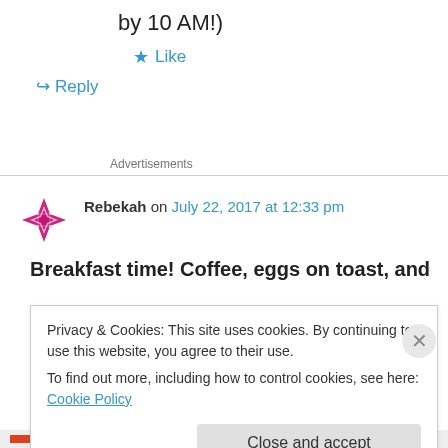by 10 AM!)
★ Like
↪ Reply
Advertisements
Rebekah on July 22, 2017 at 12:33 pm
Breakfast time! Coffee, eggs on toast, and
Privacy & Cookies: This site uses cookies. By continuing to use this website, you agree to their use.
To find out more, including how to control cookies, see here: Cookie Policy
Close and accept